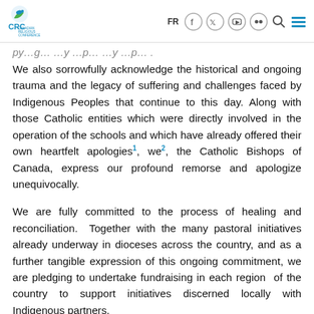CRC Canadian Religious Conference | FR | social nav icons | search | menu
We also sorrowfully acknowledge the historical and ongoing trauma and the legacy of suffering and challenges faced by Indigenous Peoples that continue to this day. Along with those Catholic entities which were directly involved in the operation of the schools and which have already offered their own heartfelt apologies¹, we², the Catholic Bishops of Canada, express our profound remorse and apologize unequivocally.
We are fully committed to the process of healing and reconciliation. Together with the many pastoral initiatives already underway in dioceses across the country, and as a further tangible expression of this ongoing commitment, we are pledging to undertake fundraising in each region of the country to support initiatives discerned locally with Indigenous partners.